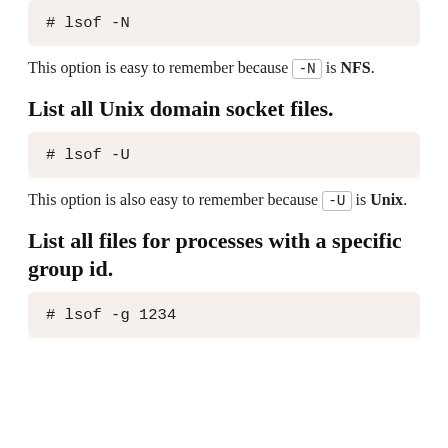[Figure (screenshot): Code block showing: # lsof -N]
This option is easy to remember because -N is NFS.
List all Unix domain socket files.
[Figure (screenshot): Code block showing: # lsof -U]
This option is also easy to remember because -U is Unix.
List all files for processes with a specific group id.
[Figure (screenshot): Code block showing: # lsof -g 1234]